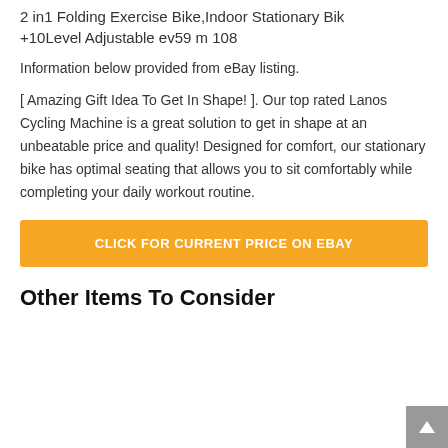2 in1 Folding Exercise Bike,Indoor Stationary Bik +10Level Adjustable ev59 m 108
Information below provided from eBay listing.
[ Amazing Gift Idea To Get In Shape! ]. Our top rated Lanos Cycling Machine is a great solution to get in shape at an unbeatable price and quality! Designed for comfort, our stationary bike has optimal seating that allows you to sit comfortably while completing your daily workout routine.
[Figure (other): Orange button labeled CLICK FOR CURRENT PRICE ON EBAY]
Other Items To Consider